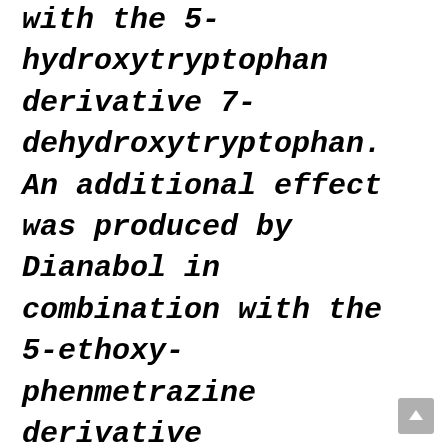with the 5-hydroxytryptophan derivative 7-dehydroxytryptophan. An additional effect was produced by Dianabol in combination with the 5-ethoxy-phenmetrazine derivative phenmetrazine. The results showed that a wide range of phenotypes was produced